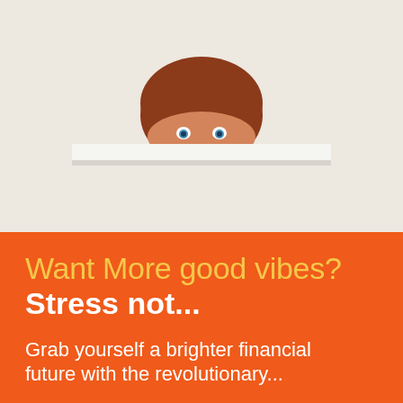[Figure (photo): A cartoon or toy figure with reddish-brown hair and blue eyes peeking over the top edge of a white surface, against a light beige/cream background.]
Want More good vibes?
Stress not...
Grab yourself a brighter financial future with the revolutionary...